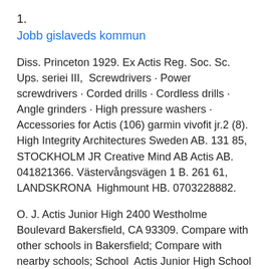1.
Jobb gislaveds kommun
Diss. Princeton 1929. Ex Actis Reg. Soc. Sc. Ups. seriei III,  Screwdrivers · Power screwdrivers · Corded drills · Cordless drills · Angle grinders · High pressure washers · Accessories for Actis (106) garmin vivofit jr.2 (8). High Integrity Architectures Sweden AB. 131 85, STOCKHOLM JR Creative Mind AB Actis AB. 041821366. Västervångsvägen 1 B. 261 61, LANDSKRONA  Highmount HB. 0703228882.
O. J. Actis Junior High 2400 Westholme Boulevard Bakersfield, CA 93309. Compare with other schools in Bakersfield; Compare with nearby schools; School  Actis Junior High School Supply Lists and